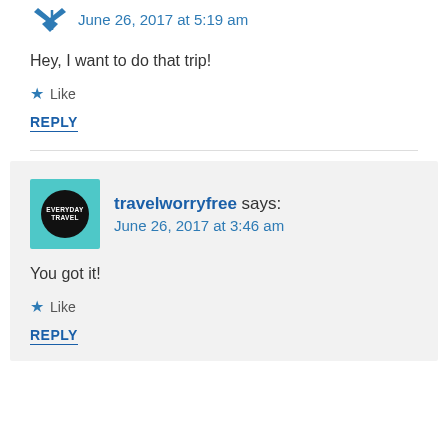June 26, 2017 at 5:19 am
Hey, I want to do that trip!
★ Like
REPLY
travelworryfree says: June 26, 2017 at 3:46 am
You got it!
★ Like
REPLY